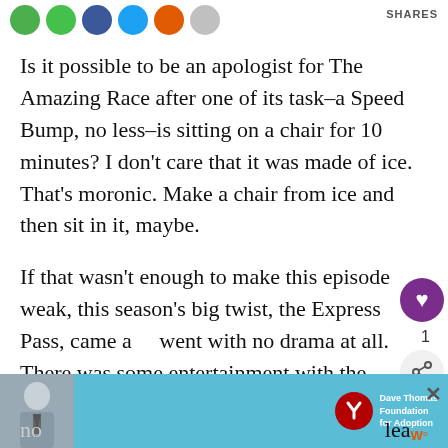[Figure (infographic): Social sharing icons row: green, green, dark blue, light blue, orange, gray circles; 'SHARES' label on right]
Is it possible to be an apologist for The Amazing Race after one of its task–a Speed Bump, no less–is sitting on a chair for 10 minutes? I don't care that it was made of ice. That's moronic. Make a chair from ice and then sit in it, maybe.
If that wasn't enough to make this episode weak, this season's big twist, the Express Pass, came and went with no drama at all. There was some entertainment with the Detour task, because it's always fun to watch people fall over in snow, but
[Figure (infographic): Floating social actions panel: purple heart circle button, '1' count, gray share circle button]
[Figure (infographic): Advertisement banner: photo of young man, blue background, Dave Thomas Foundation for Adoption logo, close X button]